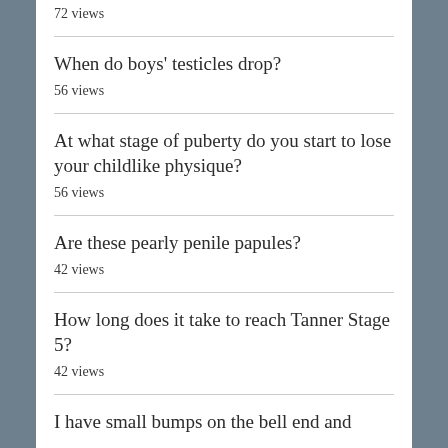72 views
When do boys' testicles drop?
56 views
At what stage of puberty do you start to lose your childlike physique?
56 views
Are these pearly penile papules?
42 views
How long does it take to reach Tanner Stage 5?
42 views
I have small bumps on the bell end and